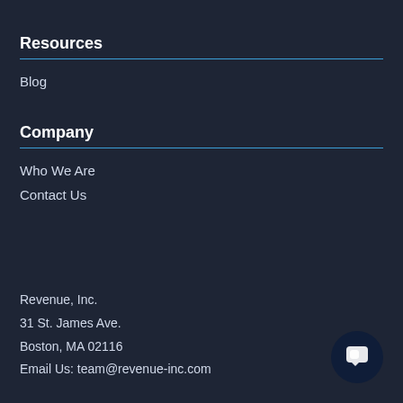Resources
Blog
Company
Who We Are
Contact Us
Revenue, Inc.
31 St. James Ave.
Boston, MA 02116
Email Us: team@revenue-inc.com